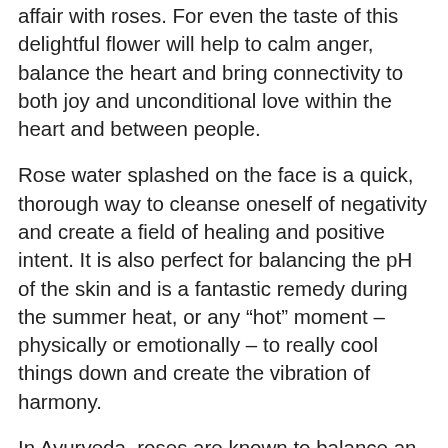affair with roses. For even the taste of this delightful flower will help to calm anger, balance the heart and bring connectivity to both joy and unconditional love within the heart and between people.
Rose water splashed on the face is a quick, thorough way to cleanse oneself of negativity and create a field of healing and positive intent. It is also perfect for balancing the pH of the skin and is a fantastic remedy during the summer heat, or any “hot” moment – physically or emotionally – to really cool things down and create the vibration of harmony.
In Ayurveda, roses are known to balance an over Pitta-condition, while at the same time helping to maintain the inner fires – such as digestive fires – known as Agni. The Buta Agni, or “Spiritual Fires” are also maintained with a regular dose of rose